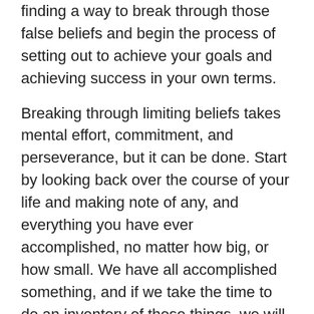finding a way to break through those false beliefs and begin the process of setting out to achieve your goals and achieving success in your own terms.
Breaking through limiting beliefs takes mental effort, commitment, and perseverance, but it can be done. Start by looking back over the course of your life and making note of any, and everything you have ever accomplished, no matter how big, or how small. We have all accomplished something, and if we take the time to do an inventory of those things, we will find that despite our limiting beliefs we have achieved more than we give ourselves credit for.
Next, start setting small daily goals for yourself. Decide on one thing, each day you intend to accomplish, just one thing. What category that one thing falls under is not important. Just determine what that one thing is each day.
Accomplishing 1 thing a day becomes 7 things a week, 30...